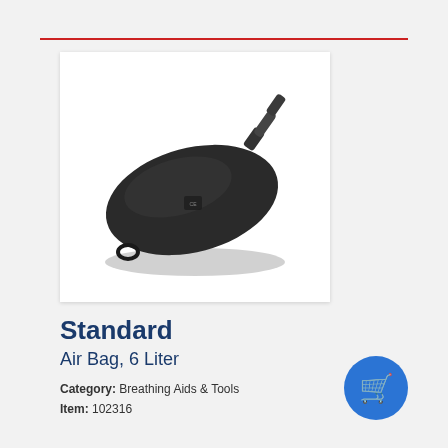[Figure (photo): A black oval-shaped air bag (6 liter) with a bent nozzle connector on the upper right and a loop at the bottom left, photographed on a white background.]
Standard
Air Bag, 6 Liter
Category: Breathing Aids & Tools
Item: 102316
[Figure (logo): Blue circular icon with a white shopping cart symbol inside.]